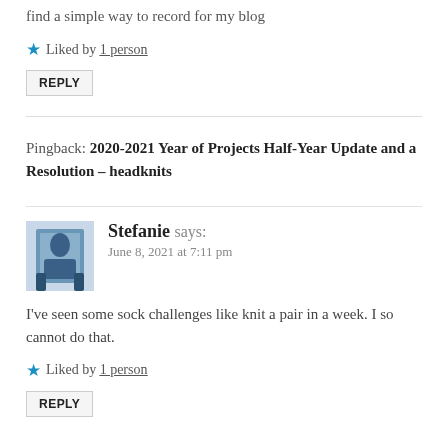find a simple way to record for my blog
Liked by 1 person
REPLY
Pingback: 2020-2021 Year of Projects Half-Year Update and a Resolution – headknits
Stefanie says:
June 8, 2021 at 7:11 pm
I've seen some sock challenges like knit a pair in a week. I so cannot do that.
Liked by 1 person
REPLY